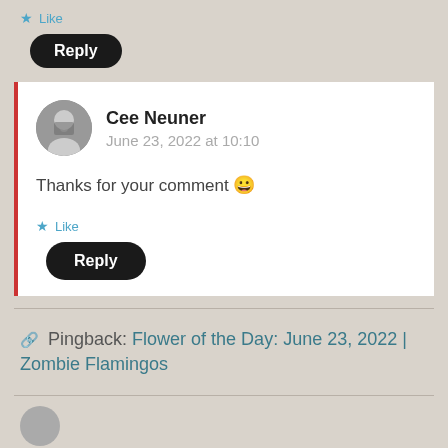Like
Reply
Cee Neuner
June 23, 2022 at 10:10
Thanks for your comment 😀
Like
Reply
Pingback: Flower of the Day: June 23, 2022 | Zombie Flamingos